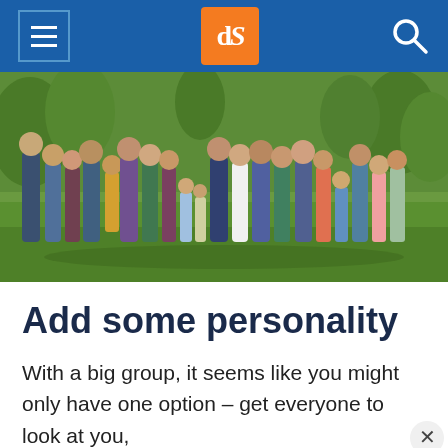dPS navigation bar with hamburger menu, logo, and search icon
[Figure (photo): Large group family photo outdoors on grass with trees in background, approximately 15-20 people of various ages posing together]
Add some personality
With a big group, it seems like you might only have one option – get everyone to look at you,